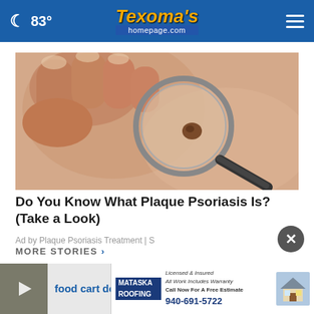🌙 83° | Texoma's homepage.com
[Figure (photo): Close-up photo of a person using a magnifying glass to examine a skin mole or psoriasis lesion on skin]
Do You Know What Plaque Psoriasis Is? (Take a Look)
Ad by Plaque Psoriasis Treatment | S
MORE STORIES >
food cart dog. ...